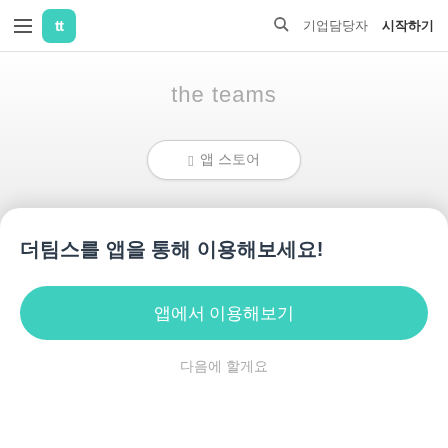≡ tt 기업담당자 시작하기
the teams
[Figure (other): App Store button with Apple logo icon and Korean text '앱 스토어']
더팀스를 앱을 통해 이용해보세요!
앱에서 이용해보기
다음에 할게요